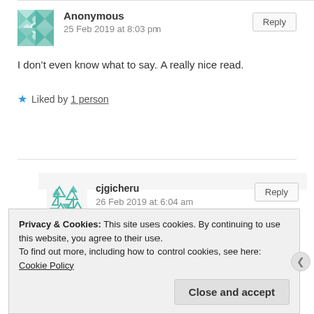[Figure (illustration): Teal quilt-pattern geometric avatar for Anonymous commenter]
Anonymous
25 Feb 2019 at 8:03 pm
Reply
I don’t even know what to say. A really nice read.
★ Liked by 1 person
[Figure (illustration): Teal triangles scatter avatar for cjgicheru commenter]
cjgicheru
26 Feb 2019 at 6:04 am
Reply
Privacy & Cookies: This site uses cookies. By continuing to use this website, you agree to their use.
To find out more, including how to control cookies, see here: Cookie Policy
Close and accept